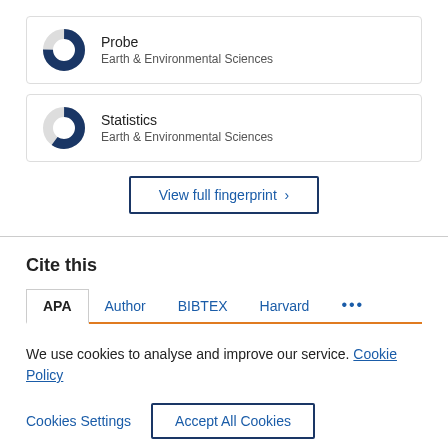[Figure (donut-chart): Donut chart partially filled in dark blue (~75%), representing 'Probe' topic weight in Earth & Environmental Sciences]
Probe
Earth & Environmental Sciences
[Figure (donut-chart): Donut chart partially filled in dark blue (~60%), representing 'Statistics' topic weight in Earth & Environmental Sciences]
Statistics
Earth & Environmental Sciences
View full fingerprint ›
Cite this
APA  Author  BIBTEX  Harvard  •••
We use cookies to analyse and improve our service. Cookie Policy
Cookies Settings
Accept All Cookies